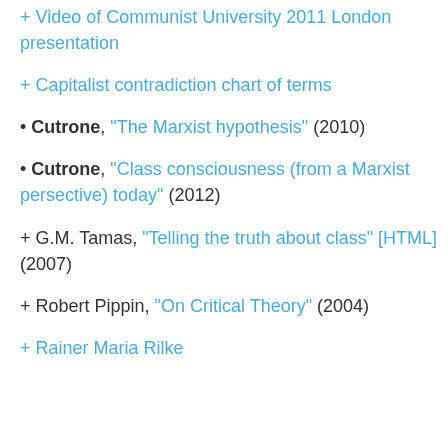+ Video of Communist University 2011 London presentation
+ Capitalist contradiction chart of terms
• Cutrone, "The Marxist hypothesis" (2010)
• Cutrone, "Class consciousness (from a Marxist persective) today" (2012)
+ G.M. Tamas, "Telling the truth about class" [HTML] (2007)
+ Robert Pippin, "On Critical Theory" (2004)
+ Rainer Maria Rilke